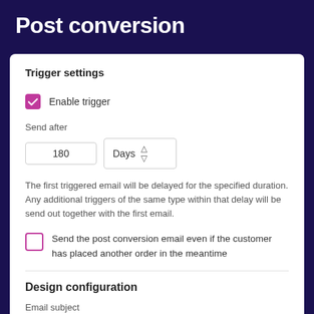Post conversion
Trigger settings
Enable trigger
Send after
180   Days
The first triggered email will be delayed for the specified duration. Any additional triggers of the same type within that delay will be send out together with the first email.
Send the post conversion email even if the customer has placed another order in the meantime
Design configuration
Email subject
We miss you    Fullscreen (F11)